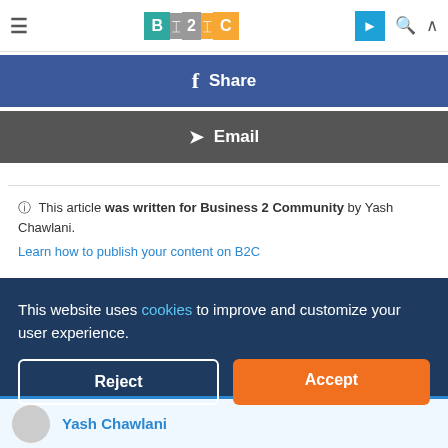≡  B2C  [logo]  [telegram] [search] [up]
f  Share
✉  Email
ℹ This article was written for Business 2 Community by Yash Chawlani.
Learn how to publish your content on B2C
This website uses cookies to improve and customize your user experience.
Reject  Accept
Yash Chawlani